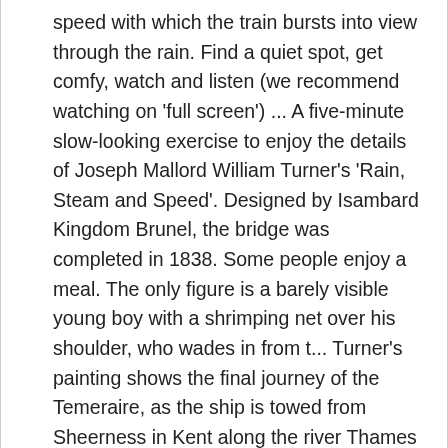speed with which the train bursts into view through the rain. Find a quiet spot, get comfy, watch and listen (we recommend watching on 'full screen') ... A five-minute slow-looking exercise to enjoy the details of Joseph Mallord William Turner's 'Rain, Steam and Speed'. Designed by Isambard Kingdom Brunel, the bridge was completed in 1838. Some people enjoy a meal. The only figure is a barely visible young boy with a shrimping net over his shoulder, who wades in from t... Turner's painting shows the final journey of the Temeraire, as the ship is towed from Sheerness in Kent along the river Thames to Rotherhithe in south-east London, where it was to be scrapped. Christina Bradstreet talks on J. M. W. Turner's 'Rain, Steam, and Speed - The Great Western Railway', painted in 1844. Dimensions: 91 x 121.8 cm. Of all the canvases that Turner ever painted, arguably the